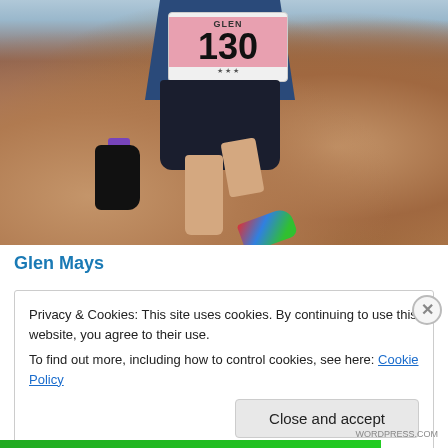[Figure (photo): Trail runner wearing race bib number 130 with name GLEN, navigating rocky terrain. Runner wears blue shirt, dark shorts, black gloves, colorful shoes. Rocks and boulders visible in foreground and background.]
Glen Mays
Privacy & Cookies: This site uses cookies. By continuing to use this website, you agree to their use.
To find out more, including how to control cookies, see here: Cookie Policy
Close and accept